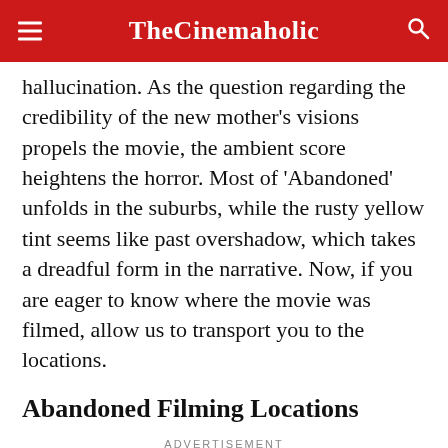TheCinemaholic
hallucination. As the question regarding the credibility of the new mother's visions propels the movie, the ambient score heightens the horror. Most of 'Abandoned' unfolds in the suburbs, while the rusty yellow tint seems like past overshadow, which takes a dreadful form in the narrative. Now, if you are eager to know where the movie was filmed, allow us to transport you to the locations.
Abandoned Filming Locations
ADVERTISEMENT